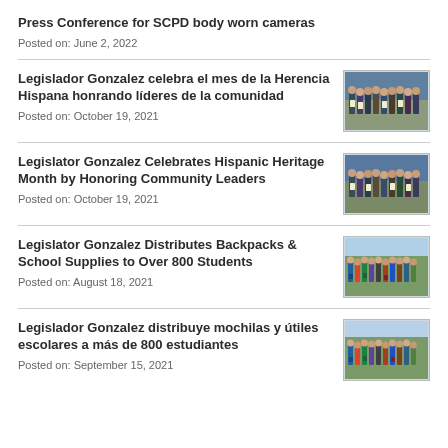Press Conference for SCPD body worn cameras
Posted on: June 2, 2022
Legislador Gonzalez celebra el mes de la Herencia Hispana honrando líderes de la comunidad
Posted on: October 19, 2021
[Figure (photo): Group photo of people at an awards ceremony with certificates]
Legislator Gonzalez Celebrates Hispanic Heritage Month by Honoring Community Leaders
Posted on: October 19, 2021
[Figure (photo): Group photo of community leaders at Hispanic Heritage Month event]
Legislator Gonzalez Distributes Backpacks & School Supplies to Over 800 Students
Posted on: August 18, 2021
[Figure (photo): Group photo outdoors with students and backpacks]
Legislador Gonzalez distribuye mochilas y útiles escolares a más de 800 estudiantes
Posted on: September 15, 2021
[Figure (photo): Group photo outdoors with students and school supplies]